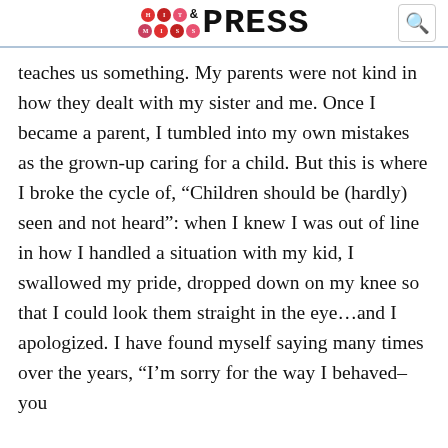HIT & MISS PRESS
teaches us something. My parents were not kind in how they dealt with my sister and me. Once I became a parent, I tumbled into my own mistakes as the grown-up caring for a child. But this is where I broke the cycle of, “Children should be (hardly) seen and not heard”: when I knew I was out of line in how I handled a situation with my kid, I swallowed my pride, dropped down on my knee so that I could look them straight in the eye…and I apologized. I have found myself saying many times over the years, “I’m sorry for the way I behaved– you